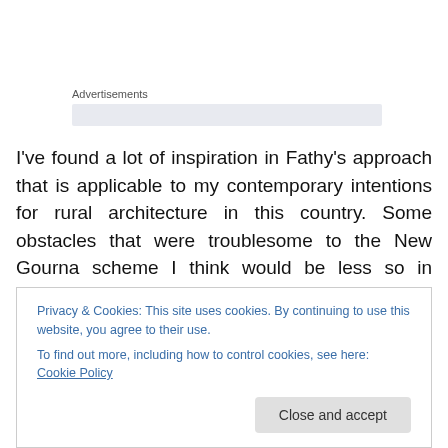Advertisements
I've found a lot of inspiration in Fathy's approach that is applicable to my contemporary intentions for rural architecture in this country. Some obstacles that were troublesome to the New Gourna scheme I think would be less so in Britain, today. For example, one major problem lay in the relationship between architect and the villagers,
Privacy & Cookies: This site uses cookies. By continuing to use this website, you agree to their use.
To find out more, including how to control cookies, see here: Cookie Policy
Close and accept